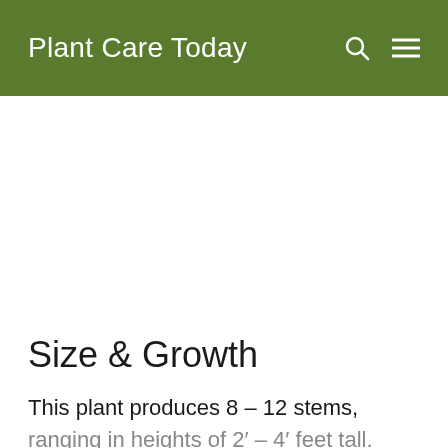Plant Care Today
Size & Growth
This plant produces 8 – 12 stems, ranging in heights of 2′ – 4′ feet tall.